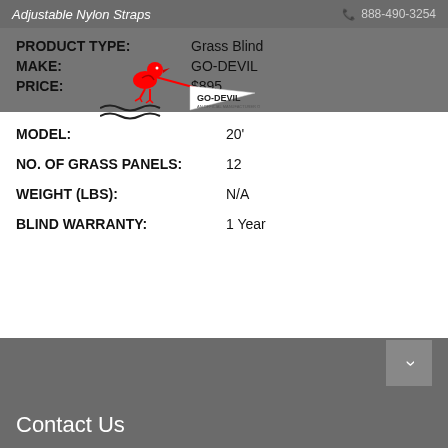Adjustable Nylon Straps  888-490-3254
PRODUCT TYPE: Grass Blind
[Figure (logo): GO-DEVIL brand logo with red cartoon bird pulling a boat, GO-DEVIL text on a white pennant shape]
MAKE: GO-DEVIL
PRICE: $895
MODEL: 20'
NO. OF GRASS PANELS: 12
WEIGHT (LBS): N/A
BLIND WARRANTY: 1 Year
Contact Us